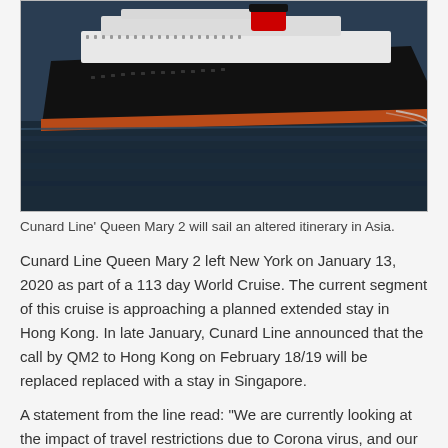[Figure (photo): Aerial/side view of Cunard Line Queen Mary 2 cruise ship sailing on dark water, showing the black hull with red stripe and white upper decks.]
Cunard Line' Queen Mary 2 will sail an altered itinerary in Asia.
Cunard Line Queen Mary 2 left New York on January 13, 2020 as part of a 113 day World Cruise. The current segment of this cruise is approaching a planned extended stay in Hong Kong. In late January, Cunard Line announced that the call by QM2 to Hong Kong on February 18/19 will be replaced replaced with a stay in Singapore.
A statement from the line read: "We are currently looking at the impact of travel restrictions due to Corona virus, and our